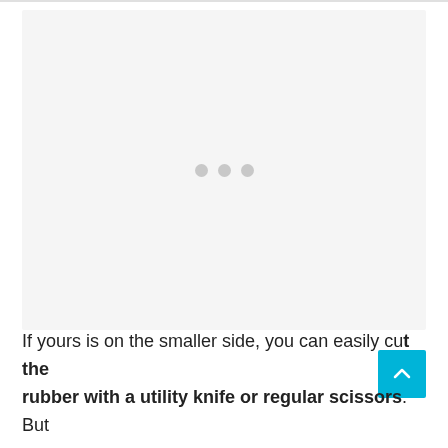[Figure (other): Large image placeholder with light gray background and three gray dots centered, indicating an image loading state]
If yours is on the smaller side, you can easily cut the rubber with a utility knife or regular scissors. But